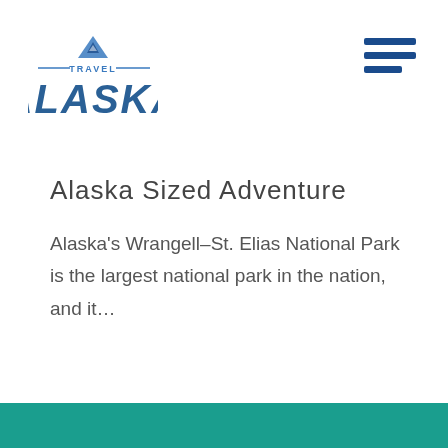[Figure (logo): Travel Alaska logo with mountain/tent icon above the text, horizontal lines flanking 'TRAVEL' in small caps, and large bold 'ALASKA' text below in teal/blue]
[Figure (other): Hamburger menu icon — three horizontal dark blue bars stacked vertically, top-right corner]
Alaska Sized Adventure
Alaska's Wrangell–St. Elias National Park is the largest national park in the nation, and it…